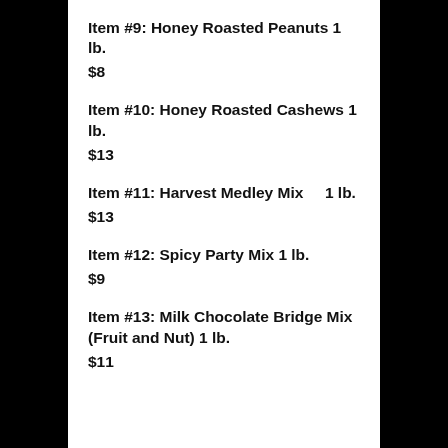Item #9: Honey Roasted Peanuts 1 lb.
$8
Item #10: Honey Roasted Cashews 1 lb.
$13
Item #11: Harvest Medley Mix    1 lb.
$13
Item #12: Spicy Party Mix 1 lb.
$9
Item #13: Milk Chocolate Bridge Mix (Fruit and Nut) 1 lb.
$11